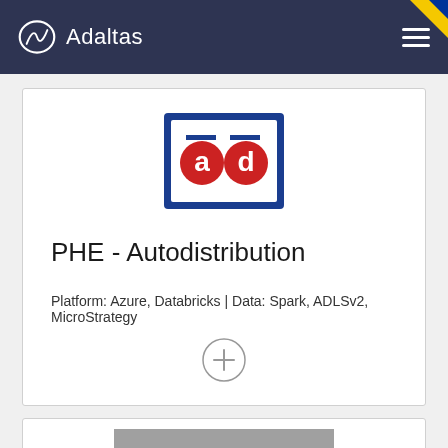Adaltas
[Figure (logo): AD Autodistribution logo — blue rectangle with red circular letter marks 'a' and 'd']
PHE - Autodistribution
Platform: Azure, Databricks | Data: Spark, ADLSv2, MicroStrategy
[Figure (logo): Societe Generale Corporate & Investment Banking logo — grey background with red square and white SOCIETE GENERALE text]